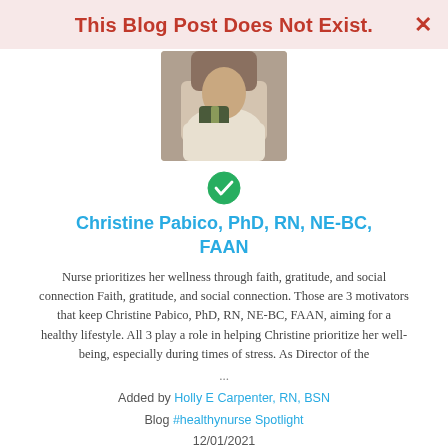This Blog Post Does Not Exist.
[Figure (photo): Photo of Christine Pabico, partially visible, holding something, wearing white fluffy top]
[Figure (other): Green circle with white checkmark icon]
Christine Pabico, PhD, RN, NE-BC, FAAN
Nurse prioritizes her wellness through faith, gratitude, and social connection Faith, gratitude, and social connection. Those are 3 motivators that keep Christine Pabico, PhD, RN, NE-BC, FAAN, aiming for a healthy lifestyle. All 3 play a role in helping Christine prioritize her well-being, especially during times of stress. As Director of the
...
Added by Holly E Carpenter, RN, BSN
Blog #healthynurse Spotlight
12/01/2021